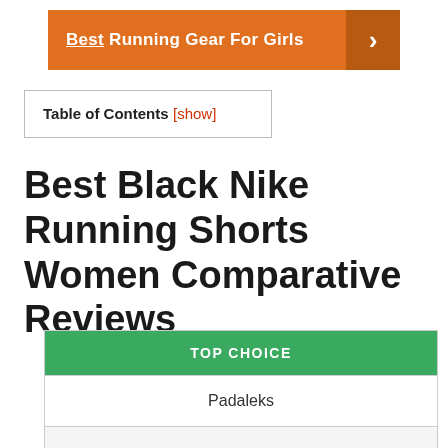Best Running Gear For Girls
Table of Contents [show]
Best Black Nike Running Shorts Women Comparative Reviews
| TOP CHOICE |
| --- |
| Padaleks |
|  |